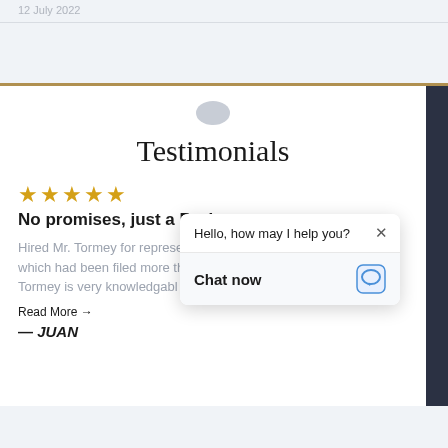12 July 2022
Testimonials
No promises, just a Pro!
Hired Mr. Tormey for representation in a FRO matter in which had been filed more th... Tormey is very knowledgable
Read More →
— JUAN
[Figure (screenshot): Live chat popup overlay with message 'Hello, how may I help you?' and 'Chat now' button with close X button]
[Figure (illustration): Gray speech bubble icon above the Testimonials heading]